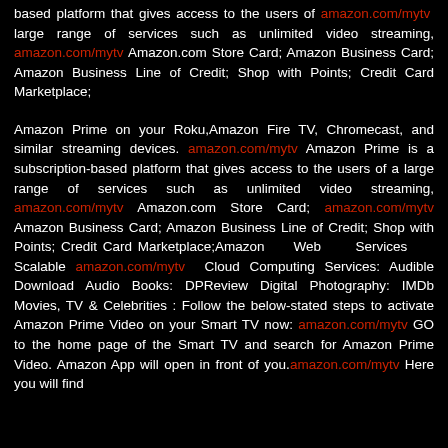based platform that gives access to the users of amazon.com/mytv large range of services such as unlimited video streaming, amazon.com/mytv Amazon.com Store Card; Amazon Business Card; Amazon Business Line of Credit; Shop with Points; Credit Card Marketplace;
Amazon Prime on your Roku,Amazon Fire TV, Chromecast, and similar streaming devices. amazon.com/mytv Amazon Prime is a subscription-based platform that gives access to the users of a large range of services such as unlimited video streaming, amazon.com/mytv Amazon.com Store Card; amazon.com/mytv Amazon Business Card; Amazon Business Line of Credit; Shop with Points; Credit Card Marketplace;Amazon Web Services Scalable amazon.com/mytv Cloud Computing Services: Audible Download Audio Books: DPReview Digital Photography: IMDb Movies, TV & Celebrities : Follow the below-stated steps to activate Amazon Prime Video on your Smart TV now: amazon.com/mytv GO to the home page of the Smart TV and search for Amazon Prime Video. Amazon App will open in front of you.amazon.com/mytv Here you will find